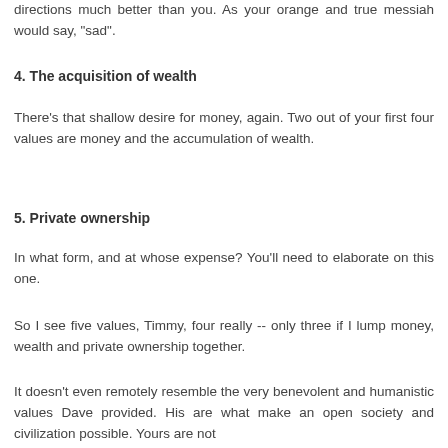directions much better than you. As your orange and true messiah would say, "sad".
4. The acquisition of wealth
There's that shallow desire for money, again. Two out of your first four values are money and the accumulation of wealth.
5. Private ownership
In what form, and at whose expense? You'll need to elaborate on this one.
So I see five values, Timmy, four really -- only three if I lump money, wealth and private ownership together.
It doesn't even remotely resemble the very benevolent and humanistic values Dave provided. His are what make an open society and civilization possible. Yours are not